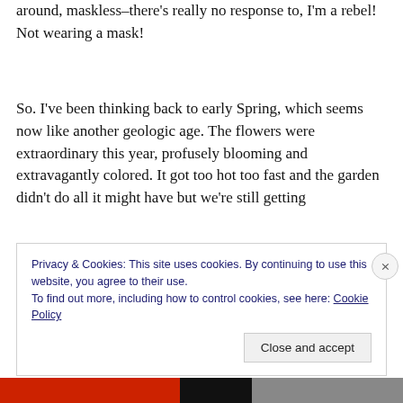around, maskless–there's really no response to, I'm a rebel! Not wearing a mask!
So. I've been thinking back to early Spring, which seems now like another geologic age. The flowers were extraordinary this year, profusely blooming and extravagantly colored. It got too hot too fast and the garden didn't do all it might have but we're still getting tomatoes and chilis so that's a good thing! The animals
Privacy & Cookies: This site uses cookies. By continuing to use this website, you agree to their use.
To find out more, including how to control cookies, see here: Cookie Policy